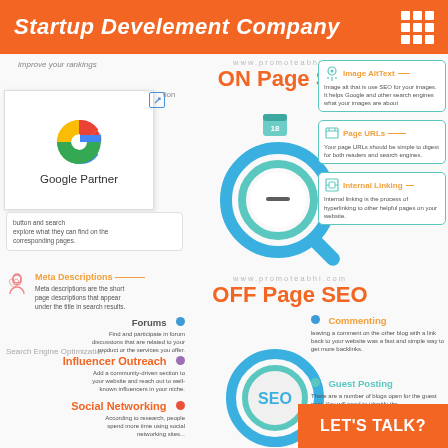Startup Develement Company
[Figure (infographic): SEO infographic showing ON Page SEO and OFF Page SEO elements including Google Partner badge, magnifier graphic, Image AltText, Page URLs, Internal Linking, Forums, Influencer Outreach, Social Networking, Commenting, and Guest Posting sections with icons and descriptions. Website: www.promoteabhi.com]
LET'S TALK?